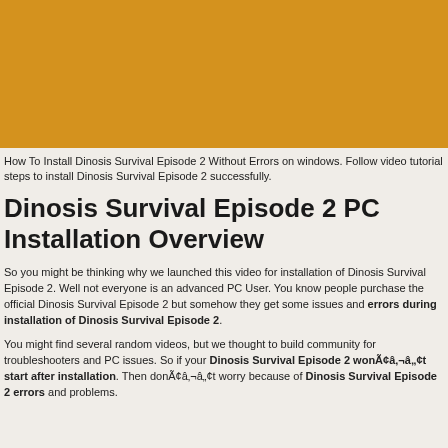[Figure (other): Golden/amber colored banner image at top of page]
How To Install Dinosis Survival Episode 2 Without Errors on windows. Follow video tutorial steps to install Dinosis Survival Episode 2 successfully.
Dinosis Survival Episode 2 PC Installation Overview
So you might be thinking why we launched this video for installation of Dinosis Survival Episode 2. Well not everyone is an advanced PC User. You know people purchase the official Dinosis Survival Episode 2 but somehow they get some issues and errors during installation of Dinosis Survival Episode 2.
You might find several random videos, but we thought to build community for troubleshooters and PC issues. So if your Dinosis Survival Episode 2 wonÃ¢Â¬Ât start after installation. Then donÃ¢Â¬Ât worry because of Dinosis Survival Episode 2 errors and problems.